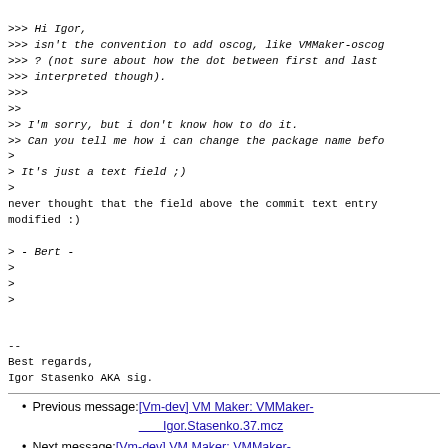>>> Hi Igor,
>>> isn't the convention to add oscog, like VMMaker-oscog
>>> ? (not sure about how the dot between first and last
>>> interpreted though).
>>>
>>
>> I'm sorry, but i don't know how to do it.
>> Can you tell me how i can change the package name befo
>
> It's just a text field ;)
>
never thought that the field above the commit text entry
modified :)

> - Bert -
>
>
>
--
Best regards,
Igor Stasenko AKA sig.
Previous message: [Vm-dev] VM Maker: VMMaker-Igor.Stasenko.37.mcz
Next message: [Vm-dev] VM Maker: VMMaker-